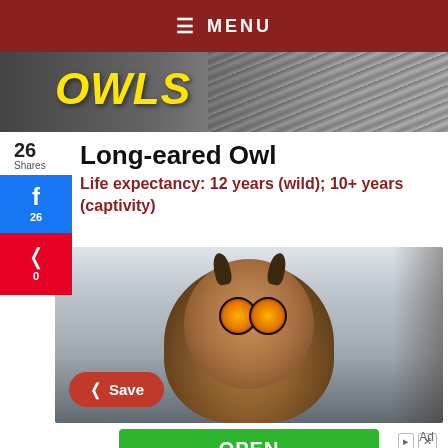≡ MENU
[Figure (photo): Banner image with 'OWLS' text in yellow italic font on the left, with a close-up photo of an owl with feather texture on the right, background is grey/black and white]
Long-eared Owl
26
Shares
Life expectancy: 12 years (wild); 10+ years (captivity)
[Figure (photo): Close-up photo of a Long-eared Owl with distinctive long ear tufts, orange/yellow eyes, brown and white patterned feathers, with a snowy blurred background and tree branches]
[Figure (other): Advertisement: Green OPEN button with ad controls, BOC Sciences can Provide Services for Chiral Synthesis, Resolution, and Analysis]
BOC Sciences can Provide Services for Chiral Synthesis, Resolution, and Analysis
Ad